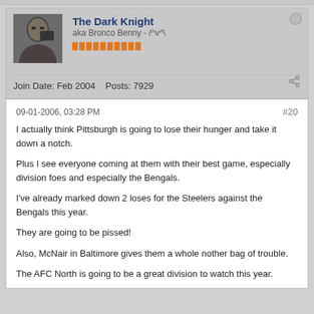The Dark Knight
aka Bronco Benny - /^v^
Join Date: Feb 2004   Posts: 7929
09-01-2006, 03:28 PM   #20
I actually think Pittsburgh is going to lose their hunger and take it down a notch.

Plus I see everyone coming at them with their best game, especially division foes and especially the Bengals.

I've already marked down 2 loses for the Steelers against the Bengals this year.

They are going to be pissed!

Also, McNair in Baltimore gives them a whole nother bag of trouble.

The AFC North is going to be a great division to watch this year.